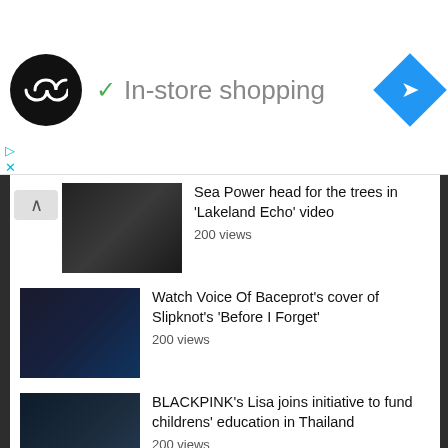[Figure (screenshot): Ad banner with circular black logo with infinity symbol, green checkmark, text 'In-store shopping', and blue diamond navigation icon]
Sea Power head for the trees in 'Lakeland Echo' video
200 views
Watch Voice Of Baceprot's cover of Slipknot's 'Before I Forget'
200 views
BLACKPINK's Lisa joins initiative to fund childrens' education in Thailand
200 views
Tags
COUNTRY MUSIC
LYRICS
LYRICS HALLELUJAH